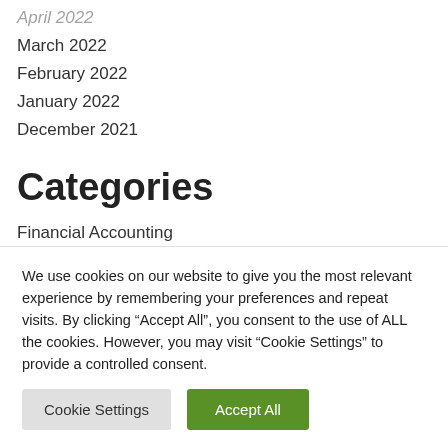April 2022
March 2022
February 2022
January 2022
December 2021
Categories
Financial Accounting
Financial Advisor
We use cookies on our website to give you the most relevant experience by remembering your preferences and repeat visits. By clicking “Accept All”, you consent to the use of ALL the cookies. However, you may visit “Cookie Settings” to provide a controlled consent.